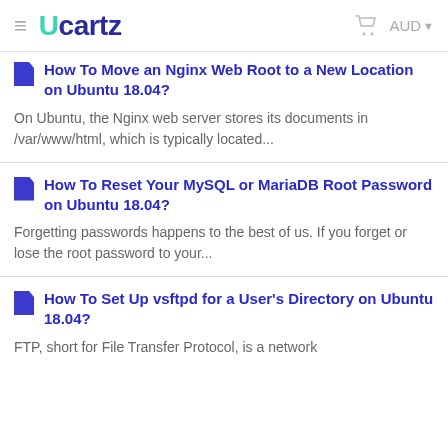Ucartz — AUD
How To Move an Nginx Web Root to a New Location on Ubuntu 18.04?
On Ubuntu, the Nginx web server stores its documents in /var/www/html, which is typically located...
How To Reset Your MySQL or MariaDB Root Password on Ubuntu 18.04?
Forgetting passwords happens to the best of us. If you forget or lose the root password to your...
How To Set Up vsftpd for a User's Directory on Ubuntu 18.04?
FTP, short for File Transfer Protocol, is a network